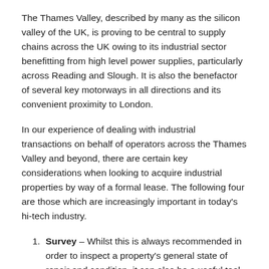The Thames Valley, described by many as the silicon valley of the UK, is proving to be central to supply chains across the UK owing to its industrial sector benefitting from high level power supplies, particularly across Reading and Slough. It is also the benefactor of several key motorways in all directions and its convenient proximity to London.
In our experience of dealing with industrial transactions on behalf of operators across the Thames Valley and beyond, there are certain key considerations when looking to acquire industrial properties by way of a formal lease. The following four are those which are increasingly important in today's hi-tech industry.
Survey – Whilst this is always recommended in order to inspect a property's general state of repair and condition, it can also be a useful tool to review the